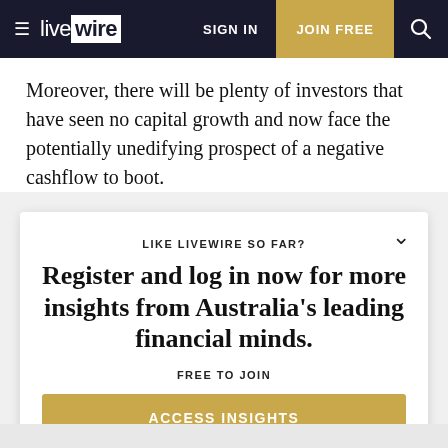≡ livewire   SIGN IN   JOIN FREE   🔍
Moreover, there will be plenty of investors that have seen no capital growth and now face the potentially unedifying prospect of a negative cashflow to boot.
LIKE LIVEWIRE SO FAR?
Register and log in now for more insights from Australia's leading financial minds.
FREE TO JOIN
ACCESS INSIGHTS